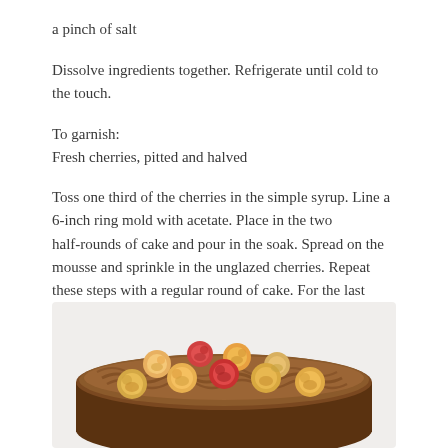a pinch of salt
Dissolve ingredients together. Refrigerate until cold to the touch.
To garnish:
Fresh cherries, pitted and halved
Toss one third of the cherries in the simple syrup. Line a 6-inch ring mold with acetate. Place in the two half-rounds of cake and pour in the soak. Spread on the mousse and sprinkle in the unglazed cherries. Repeat these steps with a regular round of cake. For the last layer, place on the last round, then pour on your soak, and top on your mousse and garnish with the glazed cherries. Refrigerate for at least an hour before serving.
[Figure (photo): A chocolate cake topped with fresh halved cherries arranged decoratively on top, viewed from a slight angle on a white background.]